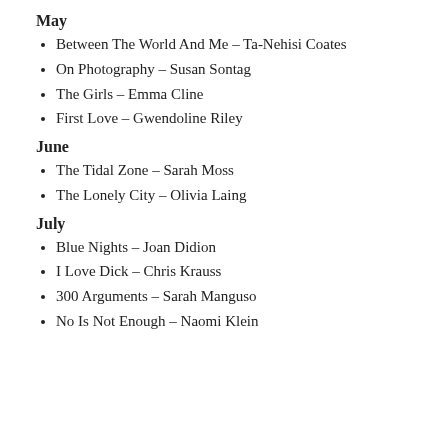May
Between The World And Me – Ta-Nehisi Coates
On Photography – Susan Sontag
The Girls – Emma Cline
First Love – Gwendoline Riley
June
The Tidal Zone – Sarah Moss
The Lonely City – Olivia Laing
July
Blue Nights – Joan Didion
I Love Dick – Chris Krauss
300 Arguments – Sarah Manguso
No Is Not Enough – Naomi Klein